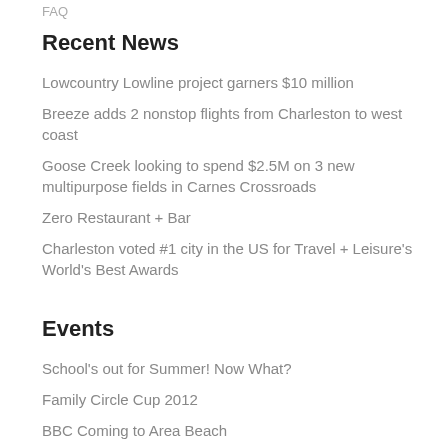FAQ
Recent News
Lowcountry Lowline project garners $10 million
Breeze adds 2 nonstop flights from Charleston to west coast
Goose Creek looking to spend $2.5M on 3 new multipurpose fields in Carnes Crossroads
Zero Restaurant + Bar
Charleston voted #1 city in the US for Travel + Leisure's World's Best Awards
Events
School's out for Summer! Now What?
Family Circle Cup 2012
BBC Coming to Area Beach
Charleston's 2012 Vacation Season: Hotels